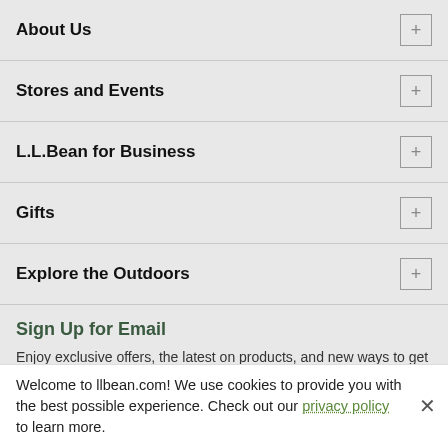About Us
Stores and Events
L.L.Bean for Business
Gifts
Explore the Outdoors
Sign Up for Email
Enjoy exclusive offers, the latest on products, and new ways to get outdoors. Details
SIGN UP
[Figure (other): Social media icons: Twitter, Facebook, Pinterest, Instagram, YouTube]
Welcome to llbean.com! We use cookies to provide you with the best possible experience. Check out our privacy policy to learn more.